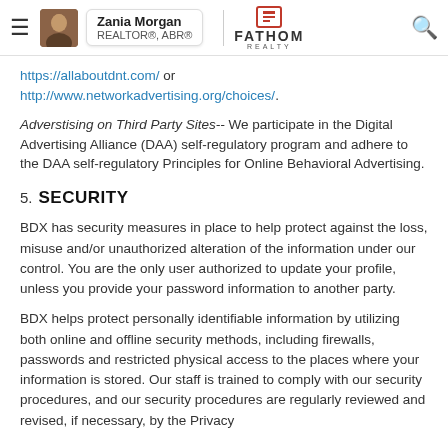Zania Morgan REALTOR®, ABR® | FATHOM REALTY
https://allaboutdnt.com/ or http://www.networkadvertising.org/choices/.
Adverstising on Third Party Sites-- We participate in the Digital Advertising Alliance (DAA) self-regulatory program and adhere to the DAA self-regulatory Principles for Online Behavioral Advertising.
5. SECURITY
BDX has security measures in place to help protect against the loss, misuse and/or unauthorized alteration of the information under our control. You are the only user authorized to update your profile, unless you provide your password information to another party.
BDX helps protect personally identifiable information by utilizing both online and offline security methods, including firewalls, passwords and restricted physical access to the places where your information is stored. Our staff is trained to comply with our security procedures, and our security procedures are regularly reviewed and revised, if necessary, by the Privacy